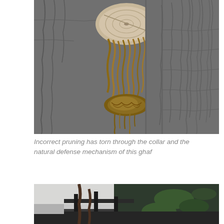[Figure (photo): Close-up photograph of a tree trunk showing incorrect pruning damage. A branch has been cut and the bark has torn through the branch collar, exposing fibrous wood tissue. The tree bark is dark gray with deep ridges. The wound area shows brown fibrous strands hanging down from the cut.]
Incorrect pruning has torn through the collar and the natural defense mechanism of this ghaf
[Figure (photo): Partially visible photograph of what appears to be tree branches or vegetation in a dark outdoor setting, with some green foliage visible.]